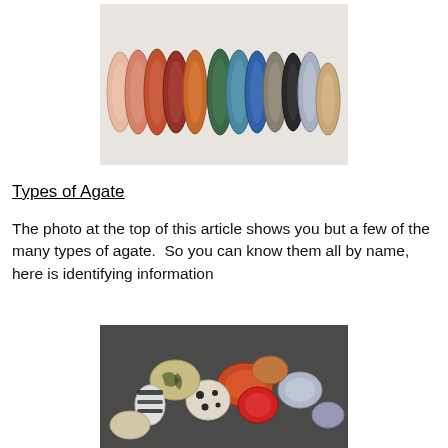[Figure (photo): A row of colorful agate slices arranged side by side on a white background, showing various colors including pink, orange, red, green, teal, blue, grey, and black.]
Types of Agate
The photo at the top of this article shows you but a few of the many types of agate.  So you can know them all by name, here is identifying information
[Figure (photo): A collection of various agate stones and gem cabochons in different colors and patterns, piled together on a dark background.]